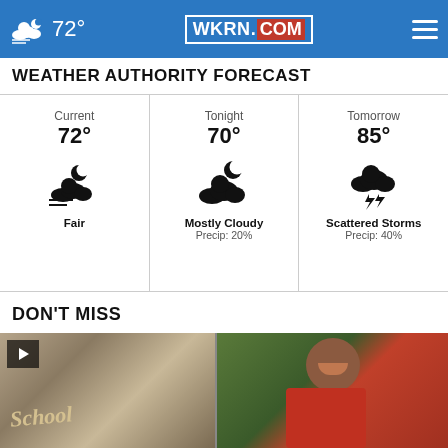WKRN.COM — 72°
WEATHER AUTHORITY FORECAST
| Current | Tonight | Tomorrow |
| --- | --- | --- |
| 72° | 70° | 85° |
| Fair | Mostly Cloudy
Precip: 20% | Scattered Storms
Precip: 40% |
DON'T MISS
[Figure (photo): Two photos side by side: left shows school supplies including a book labeled 'School', right shows a smiling young man in a red shirt outdoors. Left photo has a video play button overlay.]